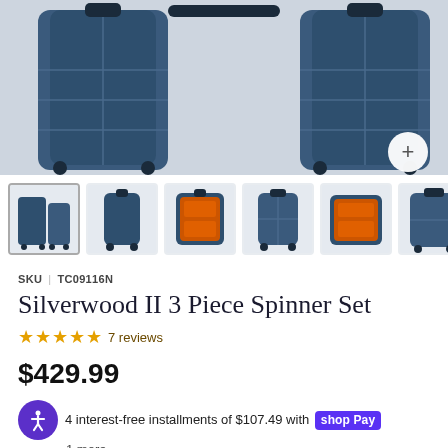[Figure (photo): Main product image showing blue hardshell luggage set (3 pieces) against light background, with a '+' button in the bottom right corner]
[Figure (photo): Thumbnail gallery row showing 6 product images: full set, single upright case, open case with orange interior, single case front view, open case orange interior side view, partial single case]
SKU | TC09116N
Silverwood II 3 Piece Spinner Set
★★★★★ 7 reviews
$429.99
4 interest-free installments of $107.49 with shop Pay
1 more
COLOR